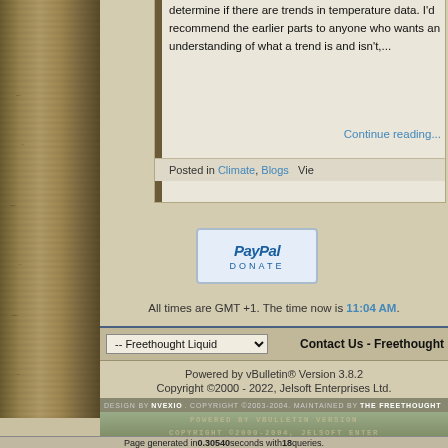determine if there are trends in temperature data. I'd recommend the earlier parts to anyone who wants an understanding of what a trend is and isn't,...
Continue reading...
Posted in Climate, Blogs   Vie
[Figure (other): PayPal Donate button]
All times are GMT +1. The time now is 11:04 AM.
-- Freethought Liquid   Contact Us - Freethought
Powered by vBulletin® Version 3.8.2
Copyright ©2000 - 2022, Jelsoft Enterprises Ltd.
DESIGN BY NVEXIO. COPYRIGHT ©2003-2004. MAINTAINED BY THE FREETHOUGHT
POWERED BY VBULLETIN VERSION
COPYRIGHT ©2000-2004, JELSOFT ENTER
Page generated in 0.30540 seconds with 18 queries.